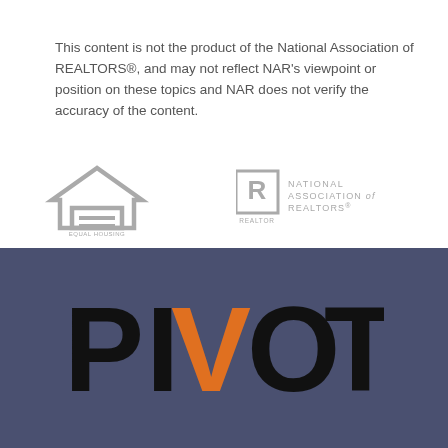This content is not the product of the National Association of REALTORS®, and may not reflect NAR's viewpoint or position on these topics and NAR does not verify the accuracy of the content.
[Figure (logo): Equal Housing Opportunity logo - house outline with equal sign, gray]
[Figure (logo): National Association of REALTORS® logo with 'R' symbol and text, gray]
[Figure (logo): PIVOT logo in large bold black letters with orange V, on dark blue-gray background]